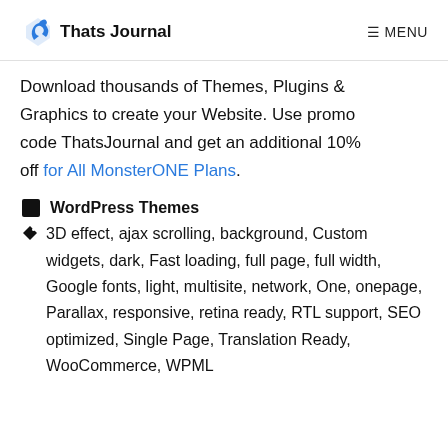Thats Journal  ☰ MENU
Download thousands of Themes, Plugins & Graphics to create your Website. Use promo code ThatsJournal and get an additional 10% off for All MonsterONE Plans.
WordPress Themes
3D effect, ajax scrolling, background, Custom widgets, dark, Fast loading, full page, full width, Google fonts, light, multisite, network, One, onepage, Parallax, responsive, retina ready, RTL support, SEO optimized, Single Page, Translation Ready, WooCommerce, WPML